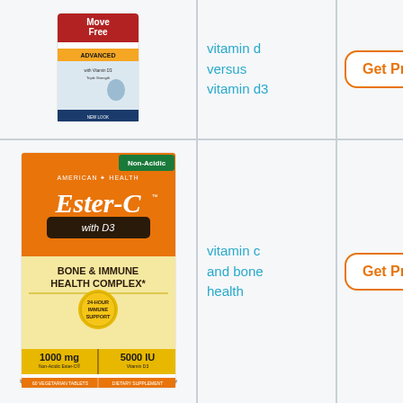[Figure (photo): Move Free Total Joint Health Advanced with Vitamin D supplement box]
vitamin d versus vitamin d3
Get Price
[Figure (photo): American Health Ester-C with D3 Bone & Immune Health Complex supplement box, 1000mg Non-Acidic Ester-C, 5000IU Vitamin D3, 60 Vegetarian Tablets]
vitamin c and bone health
Get Price